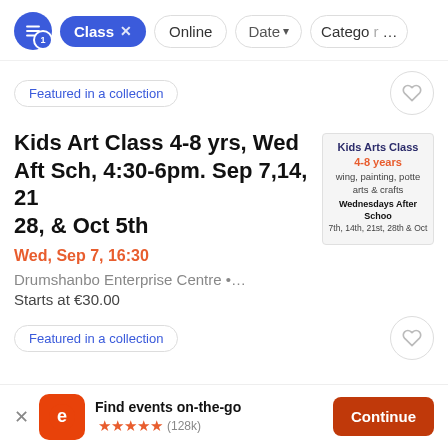Class × | Online | Date ▾ | Category
Featured in a collection
Kids Art Class 4-8 yrs, Wed Aft Sch, 4:30-6pm. Sep 7,14, 21 28, & Oct 5th
[Figure (photo): Kids Arts Class thumbnail showing 4-8 years, drawing, painting, pottery, arts & crafts, Wednesdays After School 7th, 14th, 21st, 28th & Oct]
Wed, Sep 7, 16:30
Drumshanbo Enterprise Centre •…
Starts at €30.00
Featured in a collection
Find events on-the-go ★★★★★ (128k)
Continue